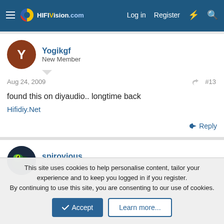HiFiVision.com — Log in  Register
Yogikgf
New Member
Aug 24, 2009  #13
found this on diyaudio.. longtime back
Hifidiy.Net
Reply
spirovious
Well-Known Member
This site uses cookies to help personalise content, tailor your experience and to keep you logged in if you register.
By continuing to use this site, you are consenting to our use of cookies.